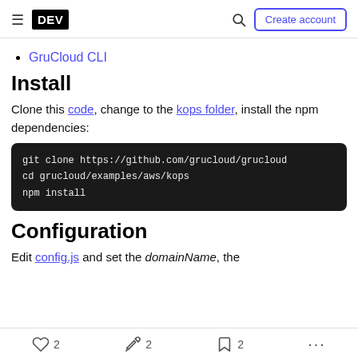DEV | Create account
GruCloud CLI
Install
Clone this code, change to the kops folder, install the npm dependencies:
git clone https://github.com/grucloud/grucloud
cd grucloud/examples/aws/kops
npm install
Configuration
Edit config.js and set the domainName, the
2  2  2  ...